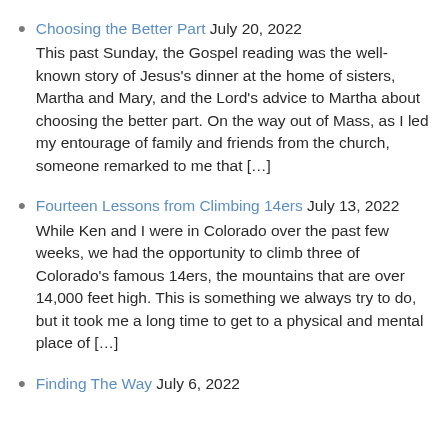Choosing the Better Part July 20, 2022
This past Sunday, the Gospel reading was the well-known story of Jesus's dinner at the home of sisters, Martha and Mary, and the Lord's advice to Martha about choosing the better part. On the way out of Mass, as I led my entourage of family and friends from the church, someone remarked to me that […]
Fourteen Lessons from Climbing 14ers July 13, 2022
While Ken and I were in Colorado over the past few weeks, we had the opportunity to climb three of Colorado's famous 14ers, the mountains that are over 14,000 feet high. This is something we always try to do, but it took me a long time to get to a physical and mental place of […]
Finding The Way July 6, 2022